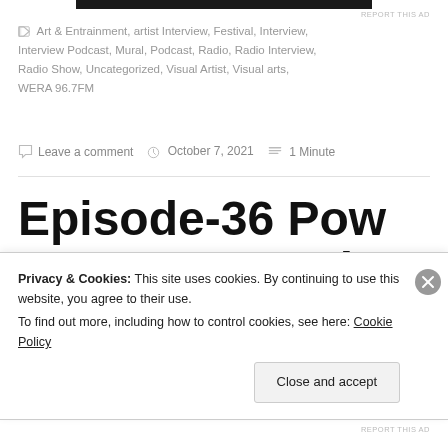[Figure (other): Dark banner image at top of page (partial, cropped)]
REPORT THIS AD
Art & Entrainment, artist Interview, Festival, Interview, Interview Podcast, Mural, Podcast, Radio, Radio Interview, Radio Show, Uncategorized, Visual Artist, Visual arts, WERA 96.7FM
Leave a comment  October 7, 2021  1 Minute
Episode-36 Pow Wow DC Mural Festival 2020
Privacy & Cookies: This site uses cookies. By continuing to use this website, you agree to their use.
To find out more, including how to control cookies, see here: Cookie Policy
Close and accept